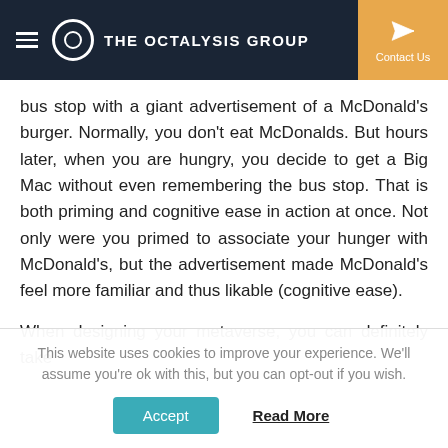THE OCTALYSIS GROUP | Contact Us
bus stop with a giant advertisement of a McDonald's burger. Normally, you don't eat McDonalds. But hours later, when you are hungry, you decide to get a Big Mac without even remembering the bus stop. That is both priming and cognitive ease in action at once. Not only were you primed to associate your hunger with McDonald's, but the advertisement made McDonald's feel more familiar and thus likable (cognitive ease).
When designing your metaverse, you can definitely take
This website uses cookies to improve your experience. We'll assume you're ok with this, but you can opt-out if you wish.
Accept   Read More